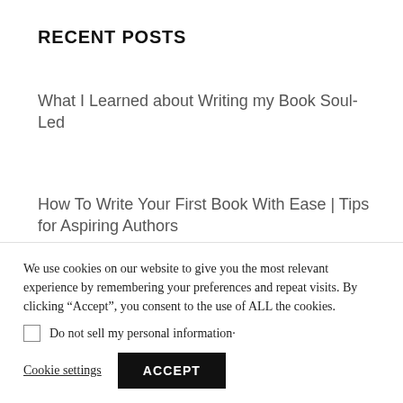RECENT POSTS
What I Learned about Writing my Book Soul-Led
How To Write Your First Book With Ease | Tips for Aspiring Authors
How To Attract More Money with These 3
We use cookies on our website to give you the most relevant experience by remembering your preferences and repeat visits. By clicking “Accept”, you consent to the use of ALL the cookies.
Do not sell my personal information·
Cookie settings
ACCEPT